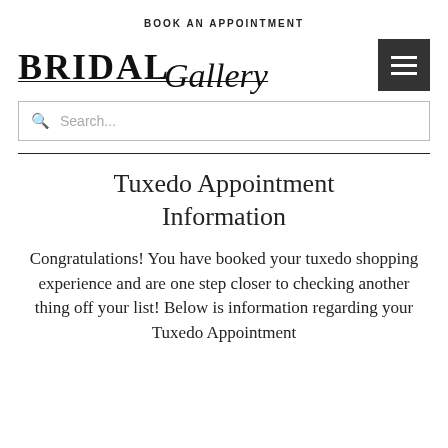BOOK AN APPOINTMENT
[Figure (logo): Bridal Gallery logo with stylized text showing 'BRIDAL' in bold serif and 'Gallery' in italic script, with an underline decoration. A dark square hamburger menu button is on the right.]
Search...
Tuxedo Appointment Information
Congratulations! You have booked your tuxedo shopping experience and are one step closer to checking another thing off your list! Below is information regarding your Tuxedo Appointment